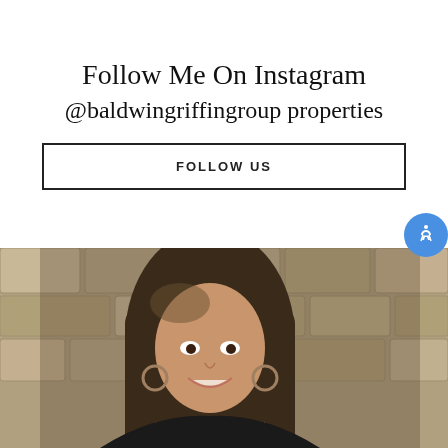Follow Me On Instagram
@baldwingriffingroup properties
FOLLOW US
[Figure (photo): Professional headshot of a woman with long brown hair, smiling, in front of a stone wall background. Email and phone contact icon buttons overlay the right side of the photo.]